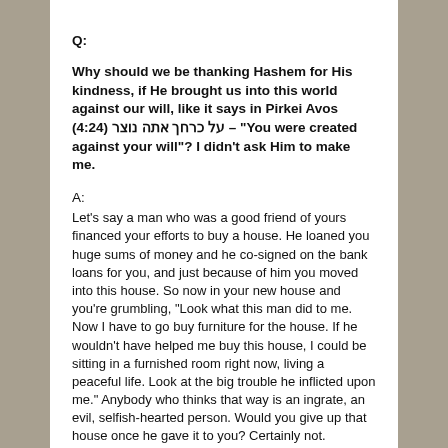Q:
Why should we be thanking Hashem for His kindness, if He brought us into this world against our will, like it says in Pirkei Avos (4:24) על כרחך אתה נוצר – "You were created against your will"? I didn't ask Him to make me.
A:
Let's say a man who was a good friend of yours financed your efforts to buy a house. He loaned you huge sums of money and he co-signed on the bank loans for you, and just because of him you moved into this house. So now in your new house and you're grumbling, "Look what this man did to me. Now I have to go buy furniture for the house. If he wouldn't have helped me buy this house, I could be sitting in a furnished room right now, living a peaceful life. Look at the big trouble he inflicted upon me." Anybody who thinks that way is an ingrate, an evil, selfish-hearted person. Would you give up that house once he gave it to you? Certainly not. Therefore, if Hashem put us into this world, that itself is a happiness. It's fun to be alive! That's a very great truth; unfortunately people don't want to talk